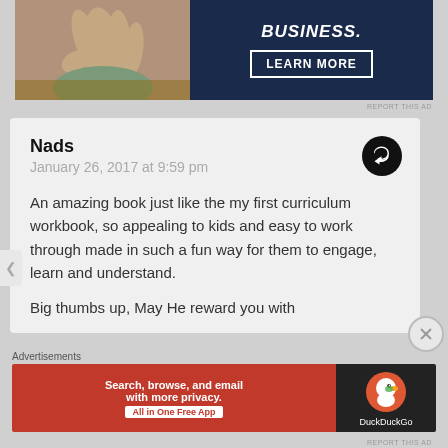[Figure (photo): Top advertisement banner with photo of person counting money on left and dark blue background with 'BUSINESS.' headline and 'LEARN MORE' button on right]
REPORT THIS AD
Nads
January 26, 2017 at 9:59 pm
An amazing book just like the my first curriculum workbook, so appealing to kids and easy to work through made in such a fun way for them to engage, learn and understand.
Big thumbs up, May He reward you with
Advertisements
[Figure (screenshot): DuckDuckGo advertisement: orange background on left reading 'Search, browse, and email with more privacy. All in One Free App' and dark background on right with DuckDuckGo duck logo and text 'DuckDuckGo']
REPORT THIS AD